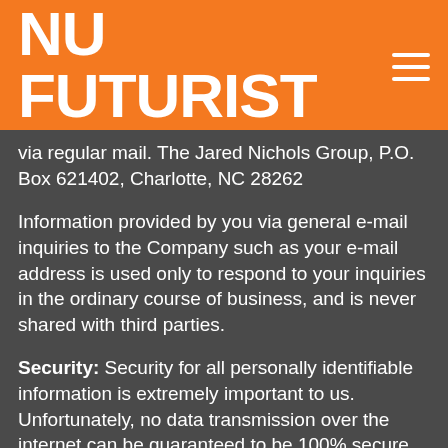NU FUTURIST
via regular mail. The Jared Nichols Group, P.O. Box 621402, Charlotte, NC 28262
Information provided by you via general e-mail inquiries to the Company such as your e-mail address is used only to respond to your inquiries in the ordinary course of business, and is never shared with third parties.
Security: Security for all personally identifiable information is extremely important to us. Unfortunately, no data transmission over the internet can be guaranteed to be 100% secure. As a result, while we strive to protect your personal information, The Company cannot ensure or guarantee the security of your information...